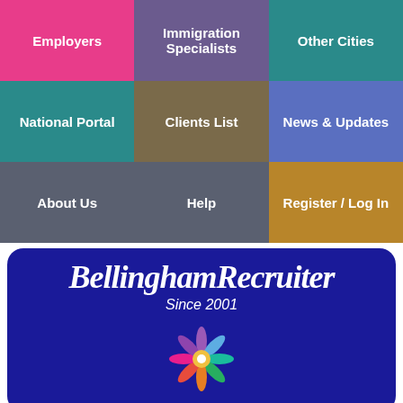[Figure (screenshot): Navigation grid with 9 colored cells: Employers (pink), Immigration Specialists (purple), Other Cities (teal), National Portal (teal), Clients List (olive), News & Updates (blue), About Us (slate), Help (slate), Register / Log In (gold)]
BellinghamRecruiter Since 2001
[Figure (illustration): Colorful flower/people icon in rainbow colors]
the smart solution for Bellingham jobs
[Figure (infographic): Social media share buttons: Facebook, Messenger, Twitter, LinkedIn, Email, Plus]